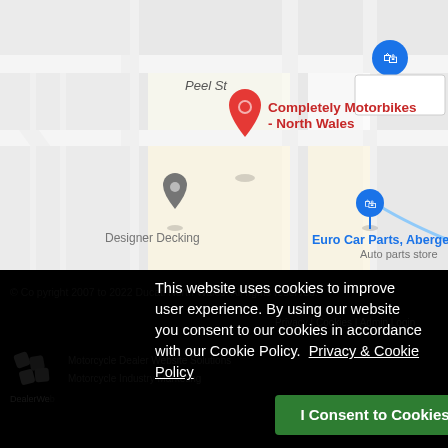[Figure (map): Google Maps screenshot showing location of Completely Motorbikes - North Wales (red pin), Designer Decking (gray pin), Euro Car Parts, Abergele - Auto parts store (blue pin), and a blue shopping bag icon in upper right. Street label 'Peel St' visible.]
© Copyright 2007 to 2022 Ducati North Wales. All rights reserved.
Privacy | Cookies | Admin Login
Motorcycle Dealer Website Solutions
Motorcycle Industry Marketing
This website uses cookies to improve user experience. By using our website you consent to our cookies in accordance with our Cookie Policy.  Privacy & Cookie Policy
I Consent to Cookies